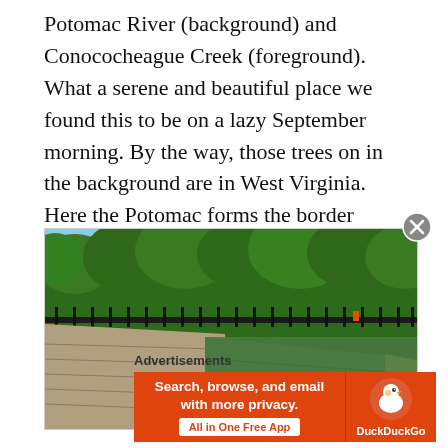Potomac River (background) and Conococheague Creek (foreground). What a serene and beautiful place we found this to be on a lazy September morning. By the way, those trees on in the background are in West Virginia. Here the Potomac forms the border between West Virginia and Maryland.
[Figure (photo): Outdoor photo showing a green water canal or lock with stone walls, a black iron fence along the far bank, and dense green trees in the background under a blue sky. A person in orange is visible near the fence.]
Advertisements
[Figure (screenshot): DuckDuckGo advertisement banner with orange background. Left side reads 'Search, browse, and email with more privacy.' with 'All in One Free App' button. Right side shows DuckDuckGo duck logo and brand name.]